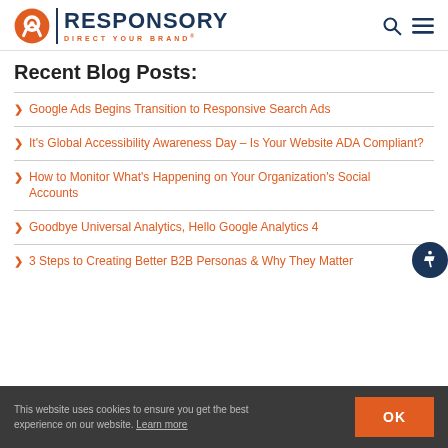RESPONSORY — DIRECT YOUR BRAND
Recent Blog Posts:
Google Ads Begins Transition to Responsive Search Ads
It's Global Accessibility Awareness Day – Is Your Website ADA Compliant?
How to Monitor What's Happening on Your Organization's Social Accounts
Goodbye Universal Analytics, Hello Google Analytics 4
3 Steps to Creating Better B2B Personas & Why They Matter
This website uses cookies to ensure you get the best experience on our website. Learn more